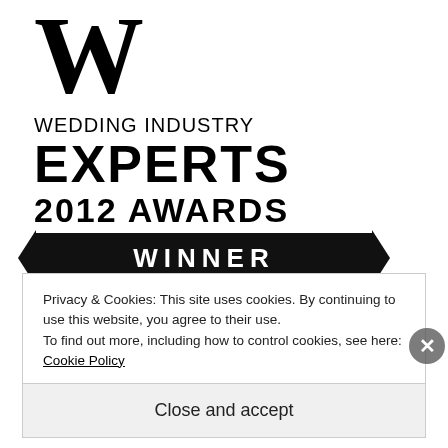[Figure (logo): Wedding Industry Experts 2012 Awards Winner logo with large W lettermark, text 'WEDDING INDUSTRY EXPERTS 2012 AWARDS' and a black ribbon banner reading 'WINNER']
Best Celebrant in Canada 2012
Privacy & Cookies: This site uses cookies. By continuing to use this website, you agree to their use.
To find out more, including how to control cookies, see here: Cookie Policy
Close and accept